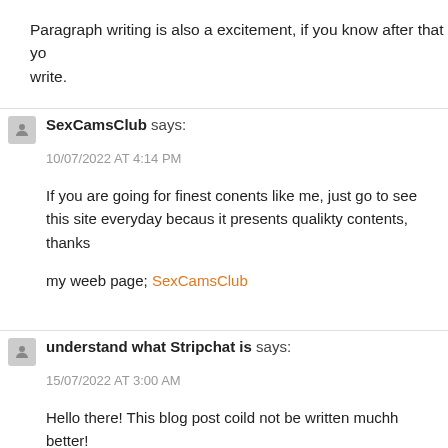Paragraph writing is also a excitement, if you know after that you can write.
SexCamsClub says:
10/07/2022 AT 4:14 PM
If you are going for finest conents like me, just go to see this site everyday becaus it presents qualikty contents, thanks
my weeb page; SexCamsClub
understand what Stripchat is says:
15/07/2022 AT 3:00 AM
Hello there! This blog post coild not be written muchh better!